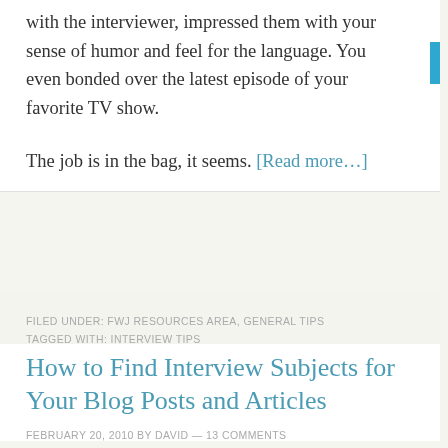with the interviewer, impressed them with your sense of humor and feel for the language. You even bonded over the latest episode of your favorite TV show.
The job is in the bag, it seems. [Read more…]
FILED UNDER: FWJ RESOURCES AREA, GENERAL TIPS
TAGGED WITH: INTERVIEW TIPS
How to Find Interview Subjects for Your Blog Posts and Articles
FEBRUARY 20, 2010 BY DAVID — 13 COMMENTS